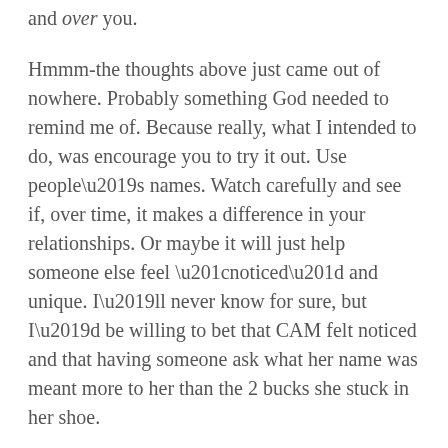and over you.
Hmmm-the thoughts above just came out of nowhere. Probably something God needed to remind me of. Because really, what I intended to do, was encourage you to try it out. Use people’s names. Watch carefully and see if, over time, it makes a difference in your relationships. Or maybe it will just help someone else feel “noticed” and unique. I’ll never know for sure, but I’d be willing to bet that CAM felt noticed and that having someone ask what her name was meant more to her than the 2 bucks she stuck in her shoe.
Share this: